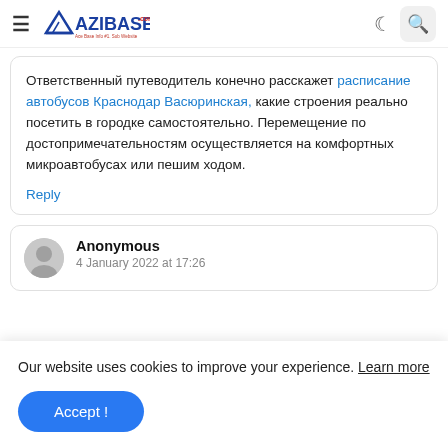AZIBASE.COM
Ответственный путеводитель конечно расскажет расписание автобусов Краснодар Васюринская, какие строения реально посетить в городке самостоятельно. Перемещение по достопримечательностям осуществляется на комфортных микроавтобусах или пешим ходом.
Reply
Anonymous
4 January 2022 at 17:26
Our website uses cookies to improve your experience. Learn more
Accept !